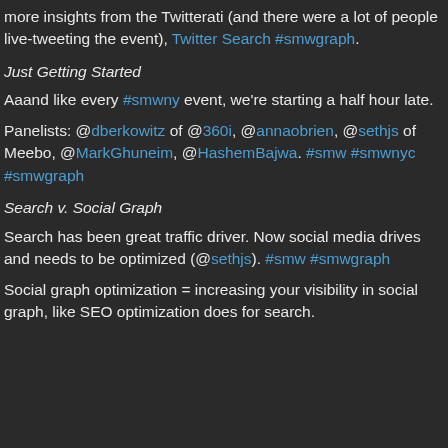more insights from the Twitterati (and there were a lot of people live-tweeting the event), Twitter Search #smwgraph.
Just Getting Started
Aaand like every #smwny event, we're starting a half hour late.
Panelists: @dberkowitz of @360i, @annaobrien, @sethjs of Meebo, @MarkGhuneim, @HashemBajwa. #smw #smwnyc #smwgraph
Search v. Social Graph
Search has been great traffic driver. Now social media drives and needs to be optimized (@sethjs). #smw #smwgraph
Social graph optimization = increasing your visibility in social graph, like SEO optimization does for search.